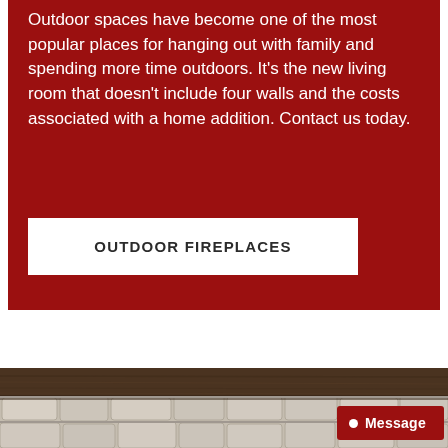Outdoor spaces have become one of the most popular places for hanging out with family and spending more time outdoors. It's the new living room that doesn't include four walls and the costs associated with a home addition. Contact us today.
OUTDOOR FIREPLACES
[Figure (photo): A stone fireplace with a dark wood mantel, showing stone masonry work with irregular light grey/white stones.]
Message